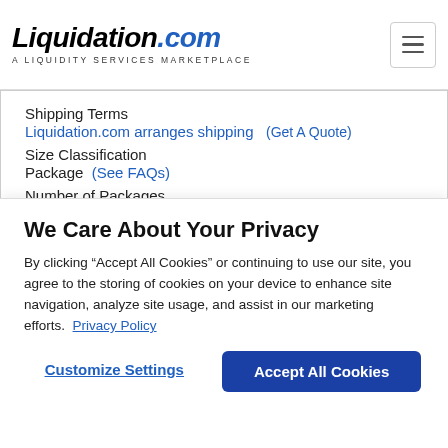[Figure (logo): Liquidation.com logo with tagline 'A LIQUIDITY SERVICES MARKETPLACE']
Shipping Terms
Liquidation.com arranges shipping  (Get A Quote)
Size Classification
Package  (See FAQs)
Number of Packages
1   (Package Details)
Available Lot(s)
1
Shipping Restrictions
We Care About Your Privacy
By clicking “Accept All Cookies” or continuing to use our site, you agree to the storing of cookies on your device to enhance site navigation, analyze site usage, and assist in our marketing efforts.  Privacy Policy
Customize Settings
Accept All Cookies